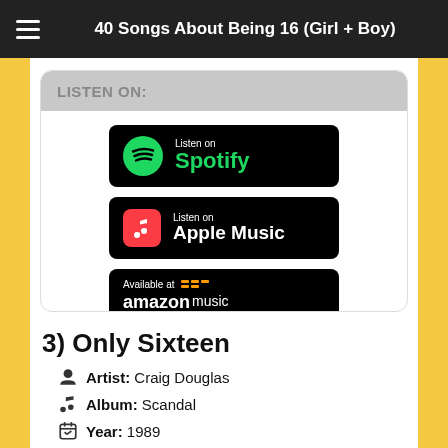40 Songs About Being 16 (Girl + Boy)
[Figure (infographic): Listen On section with Spotify, Apple Music, and Amazon Music streaming badges]
3) Only Sixteen
Artist: Craig Douglas
Album: Scandal
Year: 1989